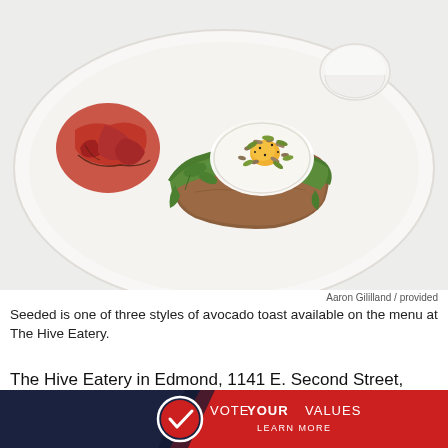[Figure (photo): A white plate with avocado toast topped with a fried egg, seeds, and arugula, alongside roasted tomatoes. A small white cup is visible in the background.]
Aaron Gililland / provided
Seeded is one of three styles of avocado toast available on the menu at The Hive Eatery.
The Hive Eatery in Edmond, 1141 E. Second Street, was born out of the bond between friendship and the desire to provide a dining destination that will make guests happy if they’re searching for indulgent comfort food or if they
[Figure (infographic): Vote Your Values advertisement banner with a checkmark logo, red and dark blue background. Text reads: VOTE YOUR VALUES / LEARN MORE]